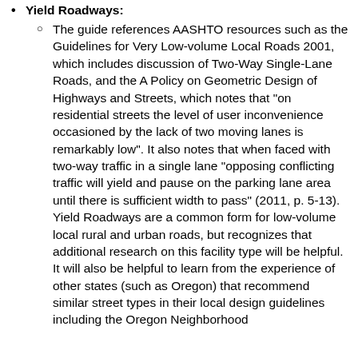Yield Roadways:
The guide references AASHTO resources such as the Guidelines for Very Low-volume Local Roads 2001, which includes discussion of Two-Way Single-Lane Roads, and the A Policy on Geometric Design of Highways and Streets, which notes that "on residential streets the level of user inconvenience occasioned by the lack of two moving lanes is remarkably low". It also notes that when faced with two-way traffic in a single lane "opposing conflicting traffic will yield and pause on the parking lane area until there is sufficient width to pass" (2011, p. 5-13).  Yield Roadways are a common form for low-volume local rural and urban roads, but recognizes that additional research on this facility type will be helpful. It will also be helpful to learn from the experience of other states (such as Oregon) that recommend similar street types in their local design guidelines including the Oregon Neighborhood